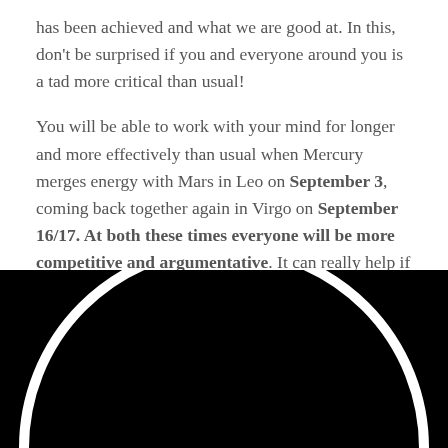has been achieved and what we are good at. In this, don't be surprised if you and everyone around you is a tad more critical than usual!
You will be able to work with your mind for longer and more effectively than usual when Mercury merges energy with Mars in Leo on September 3, coming back together again in Virgo on September 16/17. At both these times everyone will be more competitive and argumentative. It can really help if you'll be diligent about 'choosing your battles' and only defend your position when it is really important to. Being aware of this
[Figure (illustration): Black background with a large white arc/circle shape visible at the bottom of the page, suggesting an astronomical or celestial illustration.]